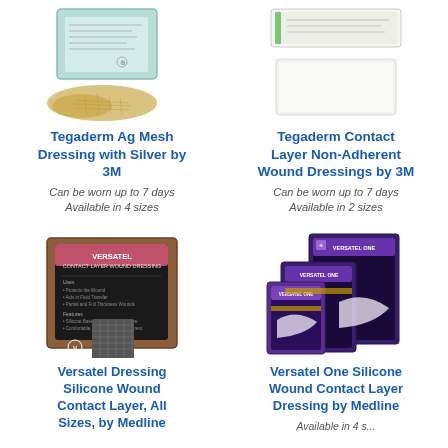[Figure (photo): Tegaderm Ag Mesh Dressing with Silver by 3M product image showing packaging and dressing]
[Figure (photo): Tegaderm Contact Layer Non-Adherent Wound Dressings by 3M product image showing packaging and dressing]
Tegaderm Ag Mesh Dressing with Silver by 3M
Tegaderm Contact Layer Non-Adherent Wound Dressings by 3M
Can be worn up to 7 days
Available in 4 sizes
Can be worn up to 7 days
Available in 2 sizes
[Figure (photo): Versatel Dressing Silicone Wound Contact Layer product photo showing box packaging]
[Figure (photo): Versatel One Silicone Wound Contact Layer Dressing by Medline product photo showing multiple boxes]
Versatel Dressing Silicone Wound Contact Layer, All Sizes, by Medline
Versatel One Silicone Wound Contact Layer Dressing by Medline